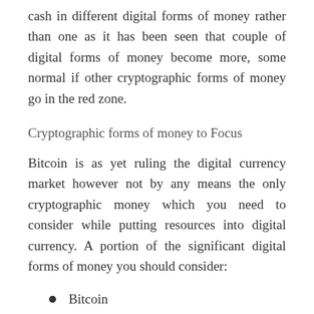cash in different digital forms of money rather than one as it has been seen that couple of digital forms of money become more, some normal if other cryptographic forms of money go in the red zone.
Cryptographic forms of money to Focus
Bitcoin is as yet ruling the digital currency market however not by any means the only cryptographic money which you need to consider while putting resources into digital currency. A portion of the significant digital forms of money you should consider:
Bitcoin
Litecoin
Wave